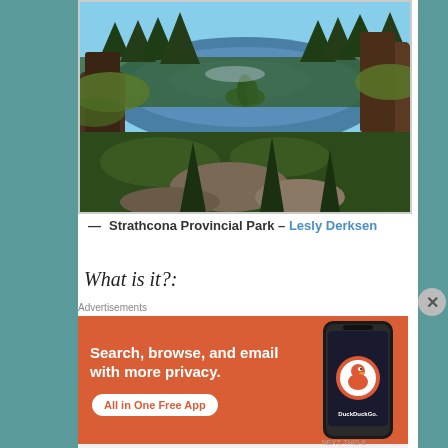[Figure (photo): Aerial view of a forested lake with an island, photographed from between large trees with moss-covered branches. Blue lake water, evergreen trees, dramatic landscape. Strathcona Provincial Park.]
— Strathcona Provincial Park – Lesly Derksen
What is it?:
Advertisements
[Figure (screenshot): DuckDuckGo advertisement banner with orange background. Text: 'Search, browse, and email with more privacy. All in One Free App'. Shows a phone with DuckDuckGo app logo.]